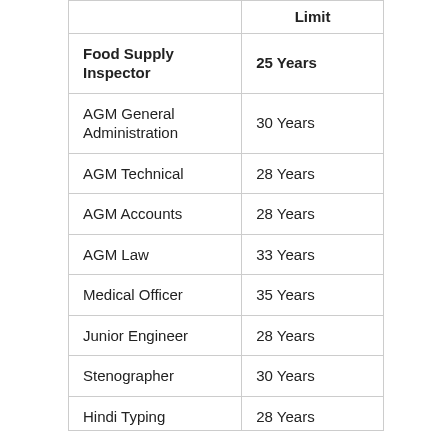|  | Limit |
| --- | --- |
| Food Supply Inspector | 25 Years |
| AGM General Administration | 30 Years |
| AGM Technical | 28 Years |
| AGM Accounts | 28 Years |
| AGM Law | 33 Years |
| Medical Officer | 35 Years |
| Junior Engineer | 28 Years |
| Stenographer | 30 Years |
| Hindi Typing | 28 Years |